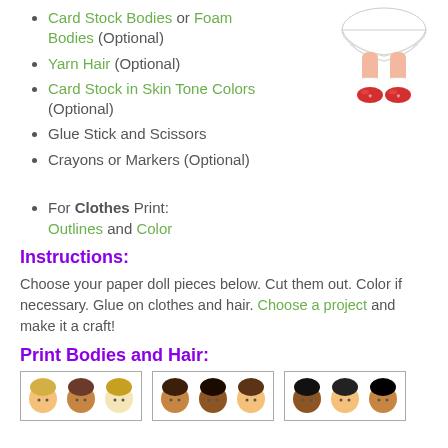[Figure (illustration): Bottom half of a paper doll with a white ruffled dress, pink legs, white socks, and red shoes with heart details]
Card Stock Bodies or Foam Bodies (Optional)
Yarn Hair (Optional)
Card Stock in Skin Tone Colors (Optional)
Glue Stick and Scissors
Crayons or Markers (Optional)
For Clothes Print: Outlines and Color
Instructions:
Choose your paper doll pieces below. Cut them out. Color if necessary. Glue on clothes and hair. Choose a project and make it a craft!
Print Bodies and Hair:
[Figure (photo): Three thumbnail images showing paper doll heads with various hair colors including blonde, brown, and dark hair options]